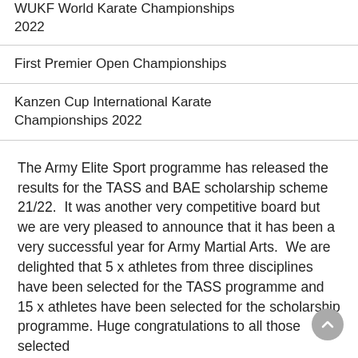WUKF World Karate Championships 2022
First Premier Open Championships
Kanzen Cup International Karate Championships 2022
The Army Elite Sport programme has released the results for the TASS and BAE scholarship scheme 21/22.  It was another very competitive board but we are very pleased to announce that it has been a very successful year for Army Martial Arts.  We are delighted that 5 x athletes from three disciplines have been selected for the TASS programme and 15 x athletes have been selected for the scholarship programme. Huge congratulations to all those selected